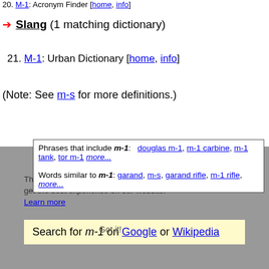20. M-1: Acronym Finder [home, info]
Slang (1 matching dictionary)
21. M-1: Urban Dictionary [home, info]
(Note: See m-s for more definitions.)
Phrases that include m-1: douglas m-1, m-1 carbine, m-1 tank, tor m-1 more...
Words similar to m-1: garand, m-s, garand rifle, m-1 rifle, more...
This website uses cookies to ensure you get the best experience on our website. Learn more
Got it!
Search for m-1 on Google or Wikipedia